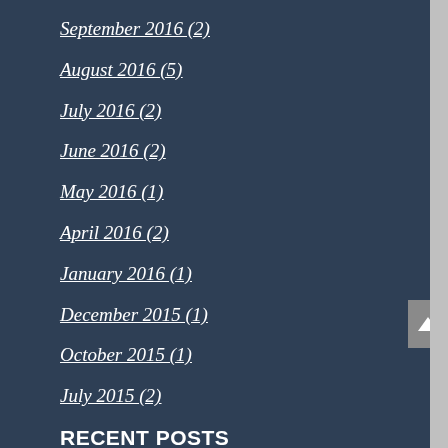September 2016 (2)
August 2016 (5)
July 2016 (2)
June 2016 (2)
May 2016 (1)
April 2016 (2)
January 2016 (1)
December 2015 (1)
October 2015 (1)
July 2015 (2)
RECENT POSTS
Concerns and considerations when your co-